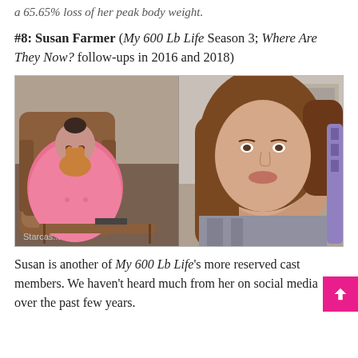a 65.65% loss of her peak body weight.
#8: Susan Farmer (My 600 Lb Life Season 3; Where Are They Now? follow-ups in 2016 and 2018)
[Figure (photo): Before and after photos of Susan Farmer. Left: a large woman in a pink floral outfit sitting in a brown recliner holding a small dog. Right: a smiling woman with long brown hair taking a selfie.]
Susan is another of My 600 Lb Life's more reserved cast members. We haven't heard much from her on social media over the past few years.